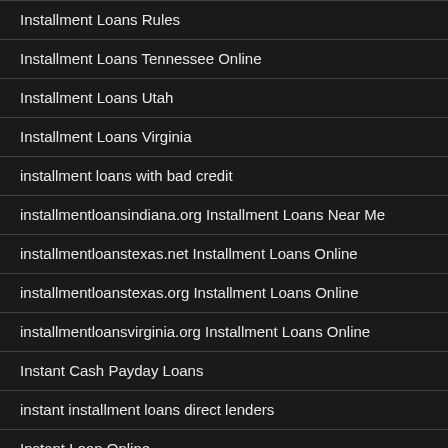Installment Loans Rules
Installment Loans Tennessee Online
Installment Loans Utah
Installment Loans Virginia
installment loans with bad credit
installmentloansindiana.org Installment Loans Near Me
installmentloanstexas.net Installment Loans Online
installmentloanstexas.org Installment Loans Online
installmentloansvirginia.org Installment Loans Online
Instant Cash Payday Loans
instant installment loans direct lenders
Instant Loan Online